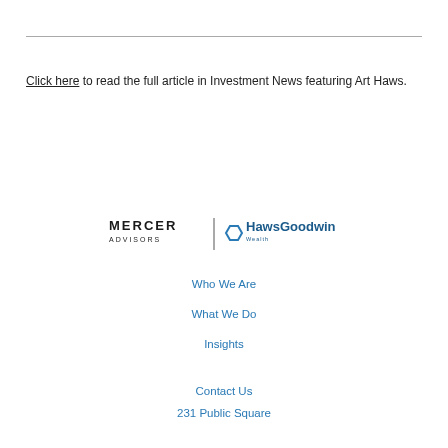Click here to read the full article in Investment News featuring Art Haws.
[Figure (logo): Mercer Advisors and HawsGoodwin Wealth combined logos with vertical divider]
Who We Are
What We Do
Insights
Contact Us
231 Public Square